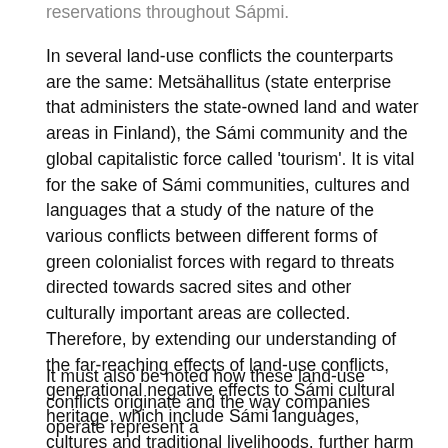reservations throughout Sápmi.
In several land-use conflicts the counterparts are the same: Metsähallitus (state enterprise that administers the state-owned land and water areas in Finland), the Sámi community and the global capitalistic force called 'tourism'. It is vital for the sake of Sámi communities, cultures and languages that a study of the nature of the various conflicts between different forms of green colonialist forces with regard to threats directed towards sacred sites and other culturally important areas are collected. Therefore, by extending our understanding of the far-reaching effects of land-use conflicts, generational negative effects to Sámi cultural heritage, which include Sámi languages, cultures and traditional livelihoods, further harm can be prevented.
It must also be noted how these land-use conflicts originate and the way companies operate represent a … (continues)